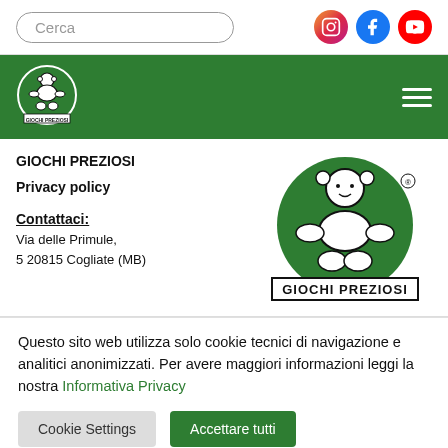Cerca
[Figure (logo): Giochi Preziosi logo with doll figure in green circle and brand name text below]
GIOCHI PREZIOSI
Privacy policy
Contattaci: Via delle Primule, 5 20815 Cogliate (MB)
Questo sito web utilizza solo cookie tecnici di navigazione e analitici anonimizzati. Per avere maggiori informazioni leggi la nostra Informativa Privacy
Cookie Settings
Accettare tutti